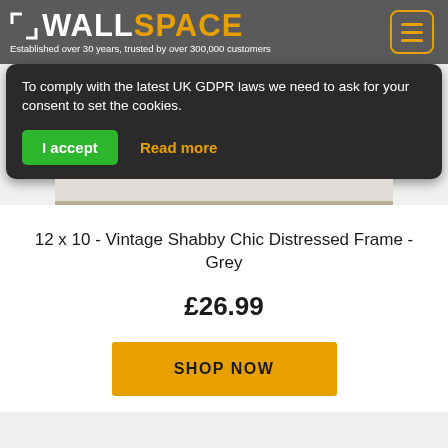WALL SPACE - Established over 30 years, trusted by over 300,000 customers
To comply with the latest UK GDPR laws we need to ask for your consent to set the cookies.
I accept  Read more
12 x 10 - Vintage Shabby Chic Distressed Frame - Grey
£26.99
SHOP NOW